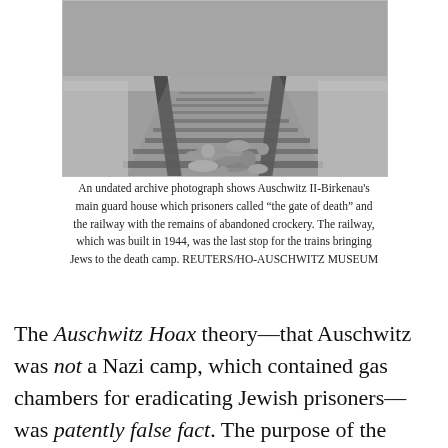[Figure (photo): Black and white archival photograph of railway tracks leading into Auschwitz II-Birkenau, with scattered crockery and debris on and between the tracks, taken in winter conditions.]
An undated archive photograph shows Auschwitz II-Birkenau's main guard house which prisoners called “the gate of death” and the railway with the remains of abandoned crockery. The railway, which was built in 1944, was the last stop for the trains bringing Jews to the death camp. REUTERS/HO-AUSCHWITZ MUSEUM
The Auschwitz Hoax theory—that Auschwitz was not a Nazi camp, which contained gas chambers for eradicating Jewish prisoners—was patently false fact. The purpose of the legislation discussed, is not to bar free speech, but to deny profoundly unacceptable, and